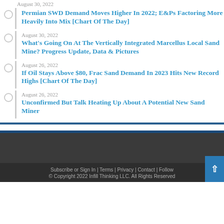August 30, 2022 — Permian SWD Demand Moves Higher In 2022; E&Ps Factoring More Heavily Into Mix [Chart Of The Day]
August 30, 2022 — What's Going On At The Vertically Integrated Marcellus Local Sand Mine? Progress Update, Data & Pictures
August 26, 2022 — If Oil Stays Above $80, Frac Sand Demand In 2023 Hits New Record Highs [Chart Of The Day]
August 26, 2022 — Unconfirmed But Talk Heating Up About A Potential New Sand Miner
Subscribe or Sign In | Terms | Privacy | Contact | Follow
© Copyright 2022 Infill Thinking LLC. All Rights Reserved